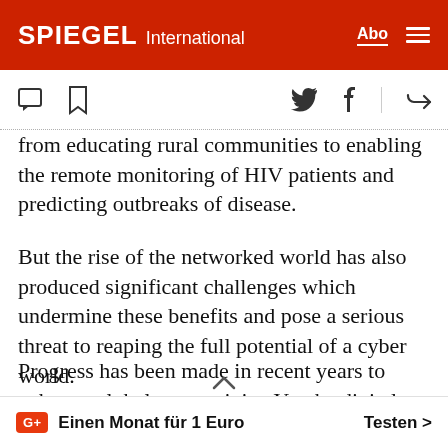SPIEGEL International
from educating rural communities to enabling the remote monitoring of HIV patients and predicting outbreaks of disease.
But the rise of the networked world has also produced significant challenges which undermine these benefits and pose a serious threat to reaping the full potential of a cyber world.
Progress has been made in recent years to enhance global connectivity. Yet the digital divide remains substantial: 95 percent of Icelanders have Internet
G+ Einen Monat für 1 Euro   Testen >